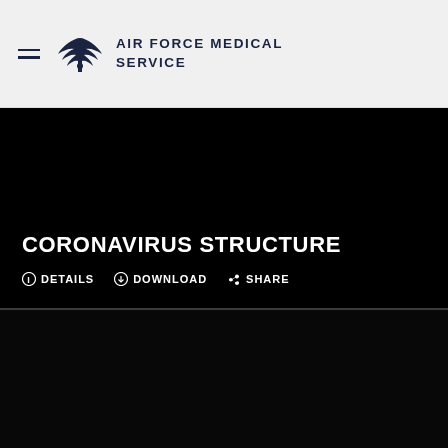AIR FORCE MEDICAL SERVICE
CORONAVIRUS STRUCTURE
ℹ DETAILS  ⊕ DOWNLOAD  ◄ SHARE
[Figure (photo): Dark/black background section below the title area representing an image placeholder for Coronavirus Structure content]